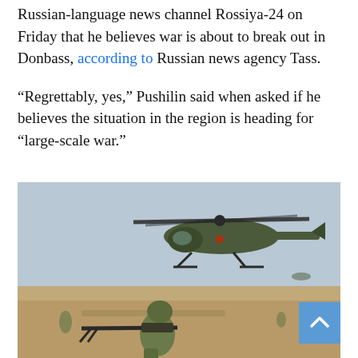Russian-language news channel Rossiya-24 on Friday that he believes war is about to break out in Donbass, according to Russian news agency Tass.
“Regrettably, yes,” Pushilin said when asked if he believes the situation in the region is heading for “large-scale war.”
[Figure (photo): A soldier in full combat gear kneels on sandy ground aiming a machine gun, with a military helicopter (marked with a red star) hovering low overhead. Other soldiers visible in the background. Overcast sky.]